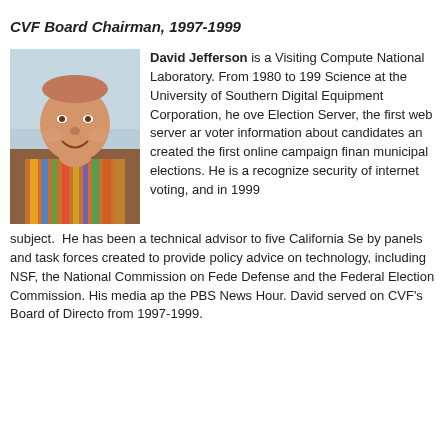CVF Board Chairman, 1997-1999
[Figure (photo): Headshot photo of David Jefferson, a smiling middle-aged man wearing a colorful striped shirt, seated in front of a light blue background.]
David Jefferson is a Visiting Computer Scientist at Lawrence Livermore National Laboratory. From 1980 to 1993 he was a professor of Computer Science at the University of Southern California. While working at Digital Equipment Corporation, he oversaw the creation of the California Election Server, the first web server anywhere devoted to providing voter information about candidates and elections. He also created the first online campaign finance database for Los Angeles municipal elections. He is a recognized expert on the technical security of internet voting, and in 1999 published a paper on the subject. He has been a technical advisor to five California Secretaries of State and has served by panels and task forces created to provide policy advice on electronic voting and election technology, including NSF, the National Commission on Federal Election Reform, the Dept. of Defense and the Federal Election Commission. His media appearances include NPR, CNN, and the PBS News Hour. David served on CVF's Board of Directors and was Board Chairman from 1997-1999.